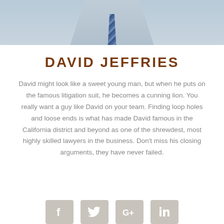[Figure (photo): Professional headshot of David Jeffries, a man in a suit and striped tie, cropped at torso level]
DAVID JEFFRIES
David might look like a sweet young man, but when he puts on the famous litigation suit, he becomes a cunning lion. You really want a guy like David on your team. Finding loop holes and loose ends is what has made David famous in the California district and beyond as one of the shrewdest, most highly skilled lawyers in the business. Don't miss his closing arguments, they have never failed.
[Figure (illustration): Social media icon buttons: Facebook, Twitter, Google+, LinkedIn]